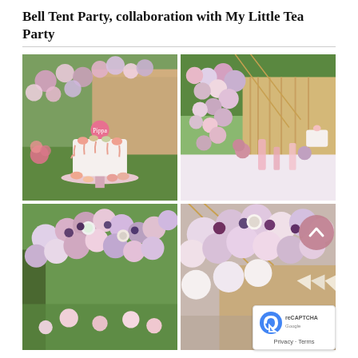Bell Tent Party, collaboration with My Little Tea Party
[Figure (photo): Grid of four party photos showing a bell tent birthday party setup with pink and lavender balloon arches, a white drip cake with macarons on a pink cake stand, floral arrangements, dessert table details, and decorated tent exterior.]
Privacy · Terms